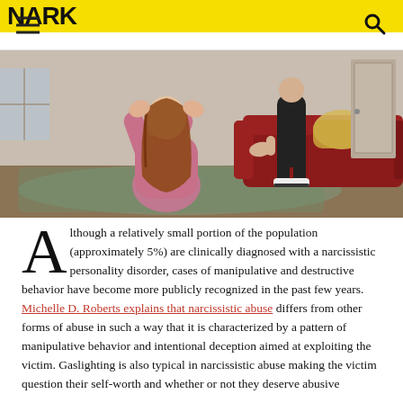NARK
[Figure (photo): A woman with long auburn hair crouching with hands over her ears in distress, wearing a pink top, in a living room with a red sofa and yellow pillow. Another person in black stands behind her.]
Although a relatively small portion of the population (approximately 5%) are clinically diagnosed with a narcissistic personality disorder, cases of manipulative and destructive behavior have become more publicly recognized in the past few years. Michelle D. Roberts explains that narcissistic abuse differs from other forms of abuse in such a way that it is characterized by a pattern of manipulative behavior and intentional deception aimed at exploiting the victim. Gaslighting is also typical in narcissistic abuse making the victim question their self-worth and whether or not they deserve abusive